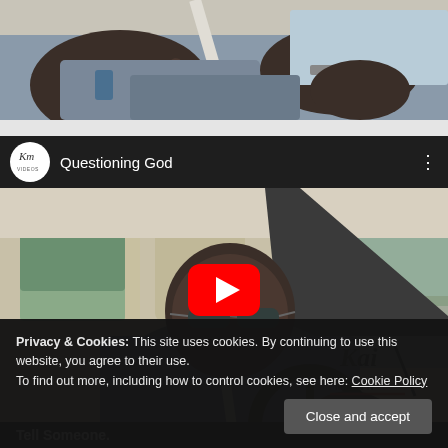[Figure (photo): Top cropped photo of a man in a car wearing a grey shirt with seatbelt, gesturing with hands, seen from below]
[Figure (screenshot): YouTube video embed titled 'Questioning God' by Kai Mann channel, showing a man driving a car wearing glasses and grey shirt, with red YouTube play button overlay and Kai Mann logo]
Privacy & Cookies: This site uses cookies. By continuing to use this website, you agree to their use.
To find out more, including how to control cookies, see here: Cookie Policy
Close and accept
Tell Someone.